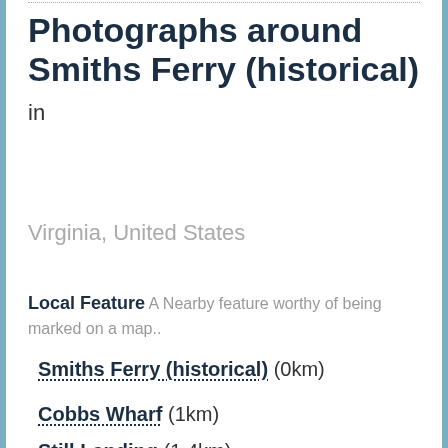Photographs around Smiths Ferry (historical) in Virginia, United States
Local Feature A Nearby feature worthy of being marked on a map..
Smiths Ferry (historical) (0km)
Cobbs Wharf (1km)
Still Landing (1.4km)